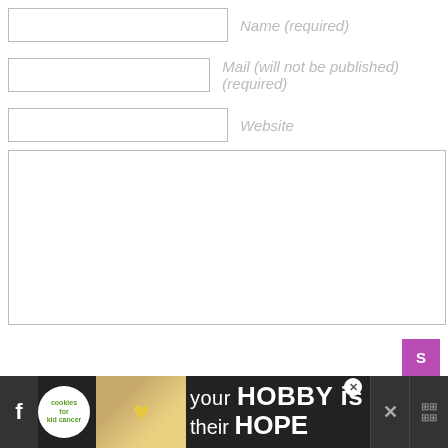Name (required)
Mail (will not be published) (required)
Website
Notify me of followup comments via e-mail
[Figure (screenshot): Advertisement banner at bottom: cookies for kid cancer - your HOBBY is their HOPE]